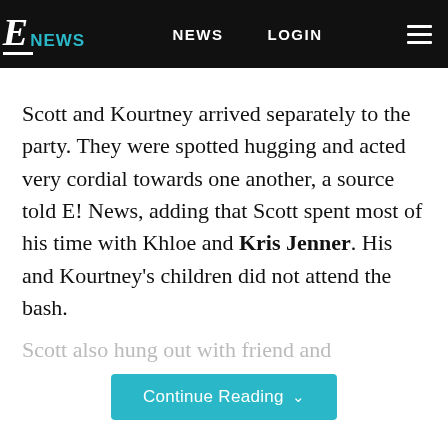E! NEWS  NEWS  LOGIN
Scott and Kourtney arrived separately to the party. They were spotted hugging and acted very cordial towards one another, a source told E! News, adding that Scott spent most of his time with Khloe and Kris Jenner. His and Kourtney's children did not attend the bash.
Scott also hung out with friend and
Continue Reading
Taboola Feed
[Figure (photo): Bottom strip showing outdoor nature/tree photo in teal and green tones]